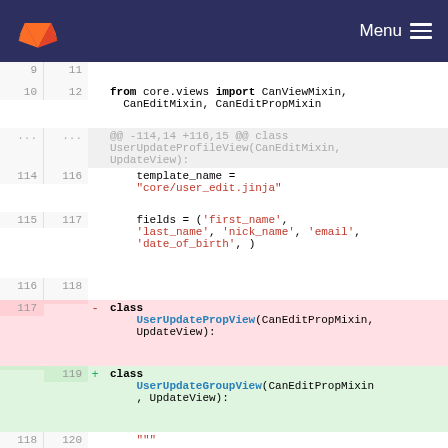GitLab — Menu
Code diff view showing changes to views.py. Lines 9-121 displayed with old and new line numbers. Changes include: import of CanViewMixin, CanEditMixin, CanEditPropMixin from core.views; template_name and fields assignments; removal of UserUpdatePropView class; addition of UserUpdateGroupView class.